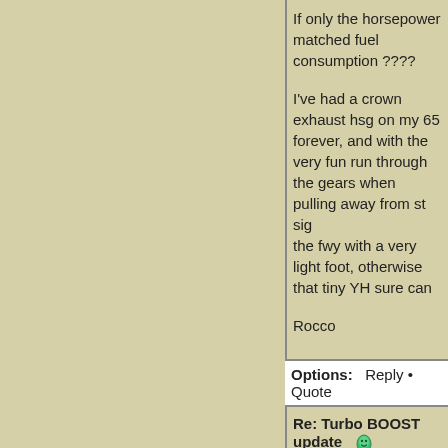If only the horsepower matched fuel consumption ????
I've had a crown exhaust hsg on my 65 forever, and with the very fun run through the gears when pulling away from st sig the fwy with a very light foot, otherwise that tiny YH sure can
Rocco
Options:  Reply • Quote
Re: Turbo BOOST update
Posted by: jjohnsonjo ()
Date: May 21, 2022 09:30AM
Four years ago my clutch was going out. Any boost at all and for normal driving. Now I'm back to 18 or so. I have gotten as its your foot that changes things.
J.O.
65 Corsa Turbo Vert
79 Honda XL 500S
69 Honda CL 160 D
2010 BMW F 650 GS
2003 Bounder 36D
2013 KIA Optima SX turbo-AKA ZIPPY (wife,s car)
69 Newport Holiday Sailboat
Baja 150 dune buggy cart
Coleman HS 500 UTV
2016 KIA Sorento SXL Turbo